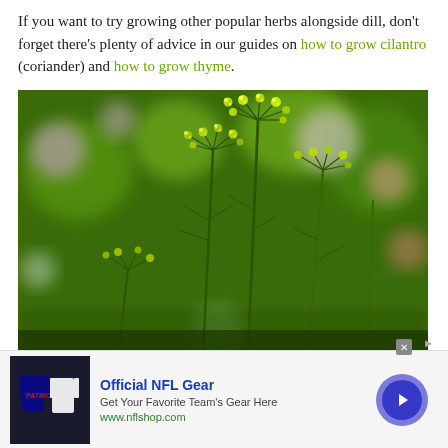If you want to try growing other popular herbs alongside dill, don't forget there's plenty of advice in our guides on how to grow cilantro (coriander) and how to grow thyme.
[Figure (photo): Close-up photograph of dill plant flowers — yellow-green umbrella-shaped flower clusters (umbels) on tall slender stems against a blurred colorful garden background]
[Figure (infographic): Advertisement bar: Official NFL Gear — Get Your Favorite Team's Gear Here — www.nflshop.com, with NFL jersey image on left and circular arrow button on right]